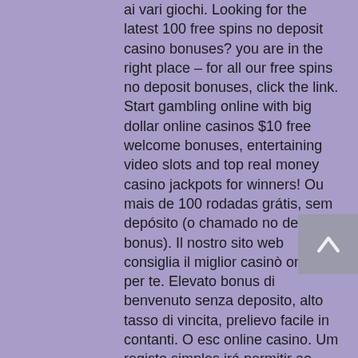ai vari giochi. Looking for the latest 100 free spins no deposit casino bonuses? you are in the right place – for all our free spins no deposit bonuses, click the link. Start gambling online with big dollar online casinos $10 free welcome bonuses, entertaining video slots and top real money casino jackpots for winners! Ou mais de 100 rodadas grátis, sem depósito (o chamado no deposit bonus). Il nostro sito web consiglia il miglior casinò online per te. Elevato bonus di benvenuto senza deposito, alto tasso di vincita, prelievo facile in contanti. O esc online casino. Um registo simples irá permitir ao jogador receber os bónus de boas-vindas do esc online, uma oferta, com ou sem depósito. No deposit bonuses 2021 | free online casino bonus codesnew no deposit A new tag will be sent to the website, casino online bonus no deposito. In some cases, you can use the mouse pointer or finger (in